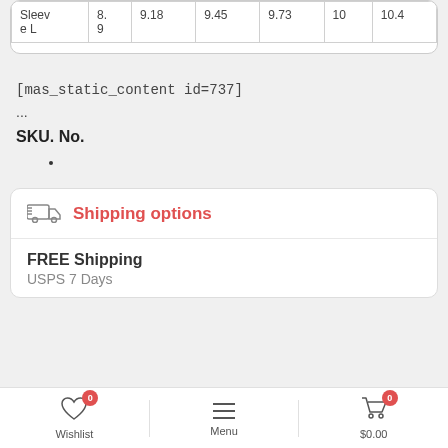| Sleeve L | 8.9 | 9.18 | 9.45 | 9.73 | 10 | 10.4 |
[mas_static_content id=737]
...
SKU. No.
Shipping options
FREE Shipping
USPS 7 Days
Wishlist 0 | Menu | $0.00 0